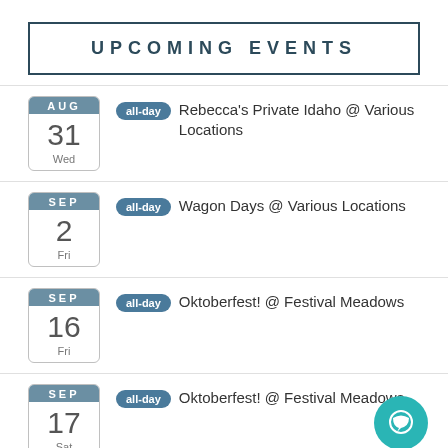UPCOMING EVENTS
AUG 31 Wed | all-day | Rebecca's Private Idaho @ Various Locations
SEP 2 Fri | all-day | Wagon Days @ Various Locations
SEP 16 Fri | all-day | Oktoberfest! @ Festival Meadows
SEP 17 Sat | all-day | Oktoberfest! @ Festival Meadows
OCT 5 Wed | all-day | 26th Annual Trailing of the Shee... @ Various Locations